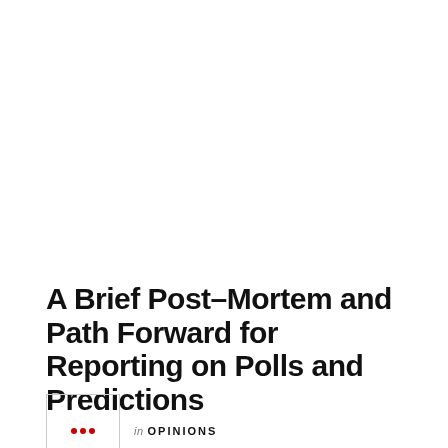A Brief Post-Mortem and Path Forward for Reporting on Polls and Predictions
in OPINIONS